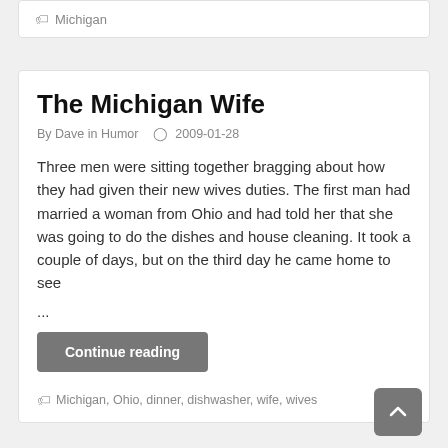Michigan
The Michigan Wife
By Dave in Humor  2009-01-28
Three men were sitting together bragging about how they had given their new wives duties. The first man had married a woman from Ohio and had told her that she was going to do the dishes and house cleaning. It took a couple of days, but on the third day he came home to see ...
Continue reading
Michigan, Ohio, dinner, dishwasher, wife, wives